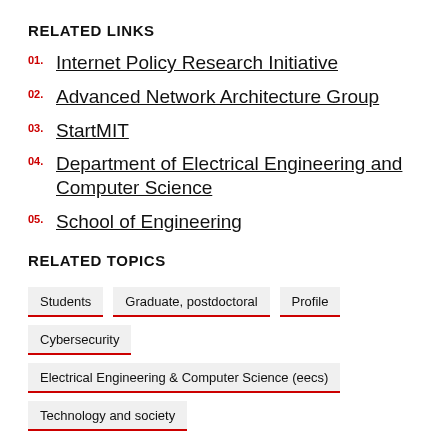RELATED LINKS
01. Internet Policy Research Initiative
02. Advanced Network Architecture Group
03. StartMIT
04. Department of Electrical Engineering and Computer Science
05. School of Engineering
RELATED TOPICS
Students
Graduate, postdoctoral
Profile
Cybersecurity
Electrical Engineering & Computer Science (eecs)
Technology and society